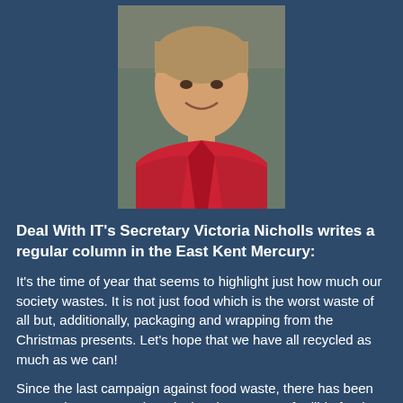[Figure (photo): Portrait photo of Victoria Nicholls, a woman with short light brown/grey hair, smiling, wearing a red coat/jacket, photographed outdoors.]
Deal With IT's Secretary Victoria Nicholls writes a regular column in the East Kent Mercury:
It's the time of year that seems to highlight just how much our society wastes. It is not just food which is the worst waste of all but, additionally, packaging and wrapping from the Christmas presents. Let's hope that we have all recycled as much as we can!
Since the last campaign against food waste, there has been some minor success in reducing the amount of edible food thrown away, particularly by the large supermarkets. It is good to see that 8 out of 10 of Sainsburys supermarkets now